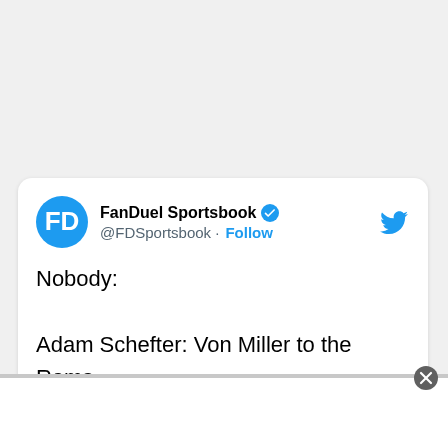[Figure (screenshot): Tweet from FanDuel Sportsbook (@FDSportsbook) with text: Nobody: Adam Schefter: Von Miller to the Rams NFL Twitter:]